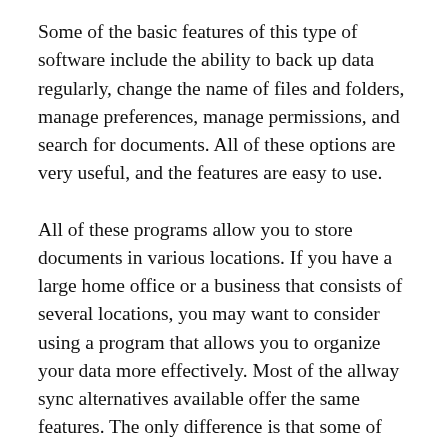Some of the basic features of this type of software include the ability to back up data regularly, change the name of files and folders, manage preferences, manage permissions, and search for documents. All of these options are very useful, and the features are easy to use.
All of these programs allow you to store documents in various locations. If you have a large home office or a business that consists of several locations, you may want to consider using a program that allows you to organize your data more effectively. Most of the allway sync alternatives available offer the same features. The only difference is that some of them vary in the level of organization they provide. For example, some of these software products are comparable to the popular Microsoft Office suite. When searching for these types of software programs, you'll often find several free versions of